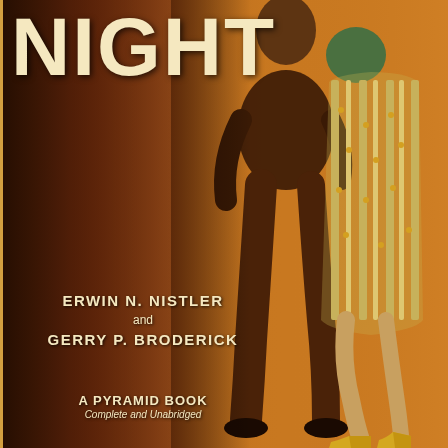NIGHT
ERWIN N. NISTLER
and
GERRY P. BRODERICK
[Figure (illustration): Pulp fiction book cover illustration showing a man and woman embracing/dancing, rendered in earthy brown and orange tones. The woman wears a yellow dotted dress and yellow heels; the man is in dark clothing. Art is stylized, noir-era pulp style.]
A PYRAMID BOOK
Complete and Unabridged